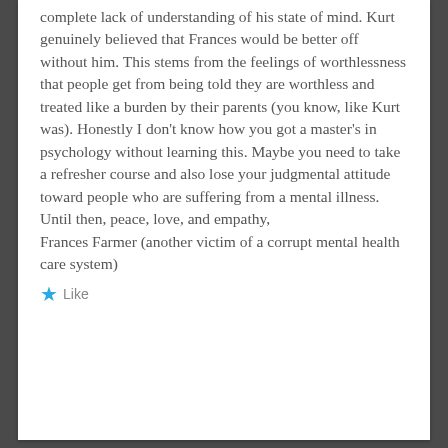complete lack of understanding of his state of mind. Kurt genuinely believed that Frances would be better off without him. This stems from the feelings of worthlessness that people get from being told they are worthless and treated like a burden by their parents (you know, like Kurt was). Honestly I don't know how you got a master's in psychology without learning this. Maybe you need to take a refresher course and also lose your judgmental attitude toward people who are suffering from a mental illness. Until then, peace, love, and empathy,
Frances Farmer (another victim of a corrupt mental health care system)
Like